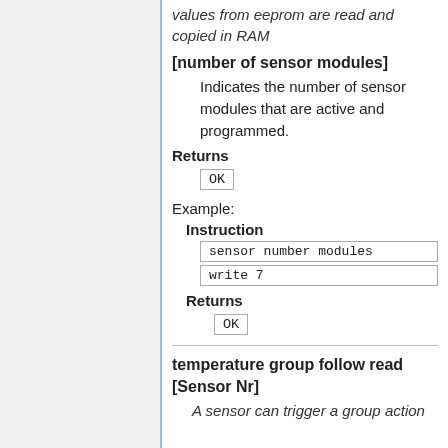values from eeprom are read and copied in RAM
[number of sensor modules]
Indicates the number of sensor modules that are active and programmed.
Returns
OK
Example:
Instruction
sensor number modules
write 7
Returns
OK
temperature group follow read [Sensor Nr]
A sensor can trigger a group action